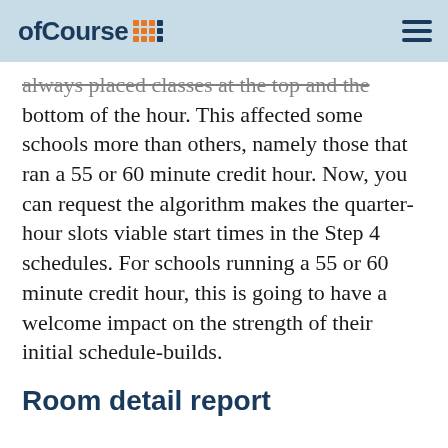ofCourse
always placed classes at the top and the bottom of the hour. This affected some schools more than others, namely those that ran a 55 or 60 minute credit hour. Now, you can request the algorithm makes the quarter-hour slots viable start times in the Step 4 schedules. For schools running a 55 or 60 minute credit hour, this is going to have a welcome impact on the strength of their initial schedule-builds.
Room detail report